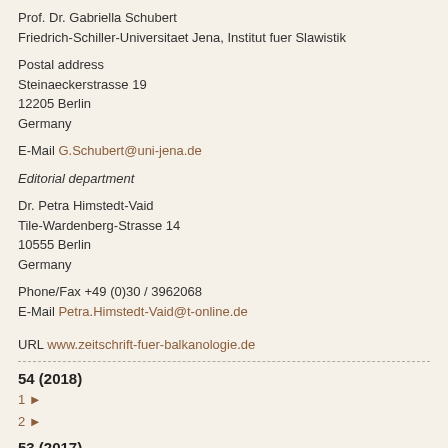Prof. Dr. Gabriella Schubert
Friedrich-Schiller-Universitaet Jena, Institut fuer Slawistik
Postal address
Steinaeckerstrasse 19
12205 Berlin
Germany
E-Mail G.Schubert@uni-jena.de
Editorial department
Dr. Petra Himstedt-Vaid
Tile-Wardenberg-Strasse 14
10555 Berlin
Germany
Phone/Fax +49 (0)30 / 3962068
E-Mail Petra.Himstedt-Vaid@t-online.de
URL www.zeitschrift-fuer-balkanologie.de
54 (2018)
1 ▶
2 ▶
53 (2017)
1 ▶
2 ▶
52 (2016)